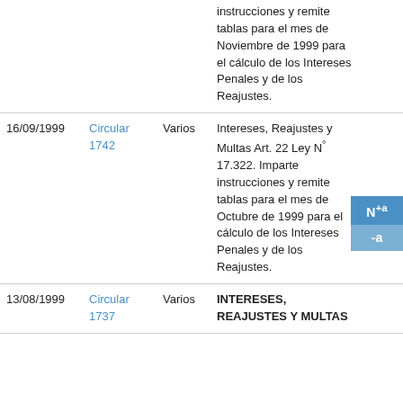| Fecha | Circular | Destinatario | Descripción |  |
| --- | --- | --- | --- | --- |
|  |  |  | instrucciones y remite tablas para el mes de Noviembre de 1999 para el cálculo de los Intereses Penales y de los Reajustes. |  |
| 16/09/1999 | Circular 1742 | Varios | Intereses, Reajustes y Multas Art. 22 Ley N° 17.322. Imparte instrucciones y remite tablas para el mes de Octubre de 1999 para el cálculo de los Intereses Penales y de los Reajustes. |  |
| 13/08/1999 | Circular 1737 | Varios | INTERESES, REAJUSTES Y MULTAS |  |